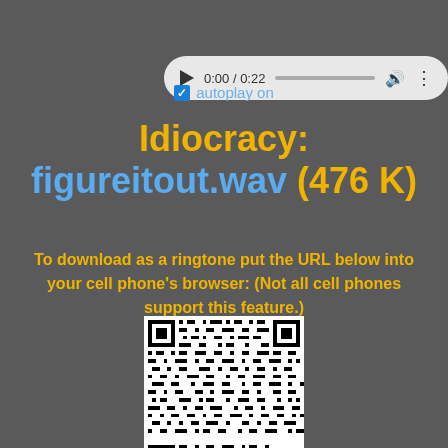[Figure (other): Audio player widget showing 0:00 / 0:22 with play button, progress bar, volume icon, and options dots on a light gray rounded pill background]
autoplay on
Idiocracy: figureitout.wav (476 K)
To download as a ringtone put the URL below into your cell phone's browser: (Not all cell phones support this feature.)
[Figure (other): QR code image in black and white for downloading figureitout.wav ringtone]